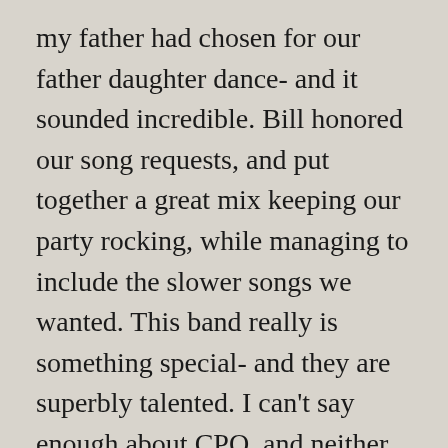my father had chosen for our father daughter dance- and it sounded incredible. Bill honored our song requests, and put together a great mix keeping our party rocking, while managing to include the slower songs we wanted. This band really is something special- and they are superbly talented. I can't say enough about CPO, and neither can my wedding guests. Thank you, Thank you, Thank you!!
When you want the best...
The title says it all. Central Park Orchestra exceeded all of our expectations. They provided a string quartet for cocktail hour and a 12-piece band for our reception. They nailed it. Our guests were